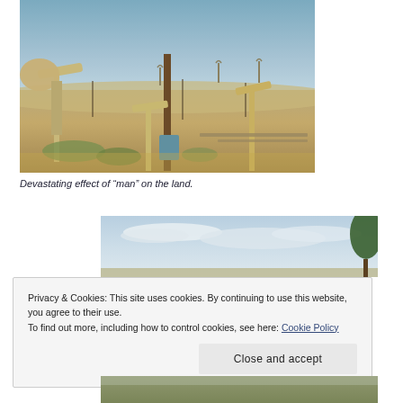[Figure (photo): Oil field with multiple pump jacks (pumpjacks/nodding donkeys) spread across a flat arid landscape with blue sky in the background. Brown dry terrain with electrical poles visible.]
Devastating effect of “man” on the land.
[Figure (photo): Wide landscape photo showing a partly cloudy blue sky with some trees visible on the right edge.]
Privacy & Cookies: This site uses cookies. By continuing to use this website, you agree to their use.
To find out more, including how to control cookies, see here: Cookie Policy
[Figure (photo): Partial view of a third photo at the bottom of the page, showing a landscape or outdoor scene.]